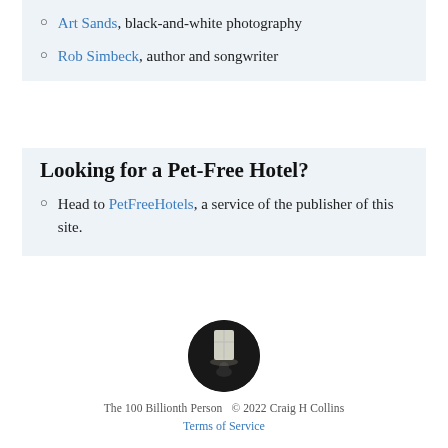Art Sands, black-and-white photography
Rob Simbeck, author and songwriter
Looking for a Pet-Free Hotel?
Head to PetFreeHotels, a service of the publisher of this site.
[Figure (logo): Circular logo showing a dimly lit room with a window, used for The 100 Billionth Person site]
The 100 Billionth Person  © 2022 Craig H Collins
Terms of Service